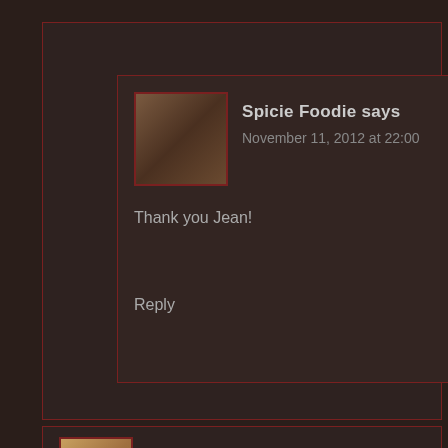Spicie Foodie says
November 11, 2012 at 22:00
Thank you Jean!
Reply
kristy @ the wicked noodle says